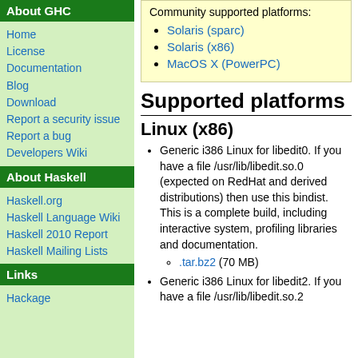About GHC
Home
License
Documentation
Blog
Download
Report a security issue
Report a bug
Developers Wiki
About Haskell
Haskell.org
Haskell Language Wiki
Haskell 2010 Report
Haskell Mailing Lists
Links
Hackage
Community supported platforms:
Solaris (sparc)
Solaris (x86)
MacOS X (PowerPC)
Supported platforms
Linux (x86)
Generic i386 Linux for libedit0. If you have a file /usr/lib/libedit.so.0 (expected on RedHat and derived distributions) then use this bindist. This is a complete build, including interactive system, profiling libraries and documentation.
.tar.bz2 (70 MB)
Generic i386 Linux for libedit2. If you have a file /usr/lib/libedit.so.2